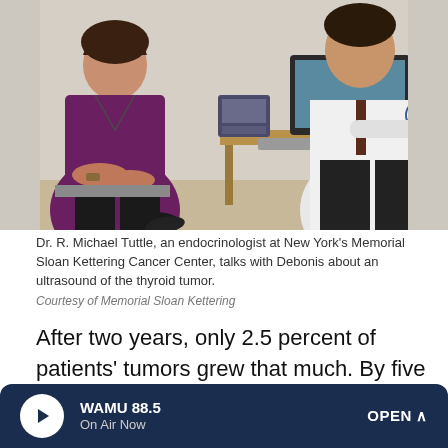[Figure (photo): A woman in a purple top sits across from a doctor in a white lab coat at a desk, with a computer monitor and keyboard visible in the background. The doctor appears to be showing the patient something on screen.]
Dr. R. Michael Tuttle, an endocrinologist at New York's Memorial Sloan Kettering Cancer Center, talks with Debonis about an ultrasound of the thyroid tumor.
Courtesy of Memorial Sloan Kettering
After two years, only 2.5 percent of patients' tumors grew that much. By five years, 12 percent of patients' tumors had increased at least 3 millimeters, according to the study. Importantly, none of the tumors spread outside the thyroid, a
WAMU 88.5 | On Air Now | OPEN